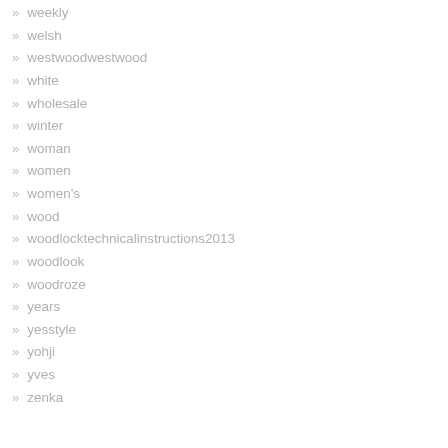weekly
welsh
westwoodwestwood
white
wholesale
winter
woman
women
women's
wood
woodlocktechnicalinstructions2013
woodlook
woodroze
years
yesstyle
yohji
yves
zenka